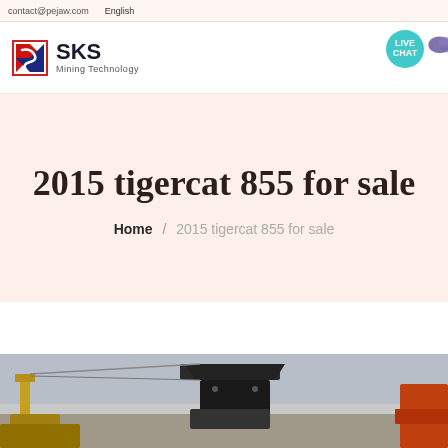contact@pejaw.com  English
[Figure (logo): SKS Mining Technology logo with red and blue S icon]
[Figure (illustration): Live Chat bubble icon in teal with chat arrow graphic]
2015 tigercat 855 for sale
Home / 2015 tigercat 855 for sale
[Figure (photo): Partial photo of heavy mining/forestry equipment (tigercat 855) against grey sky, showing boom arm and machinery parts]